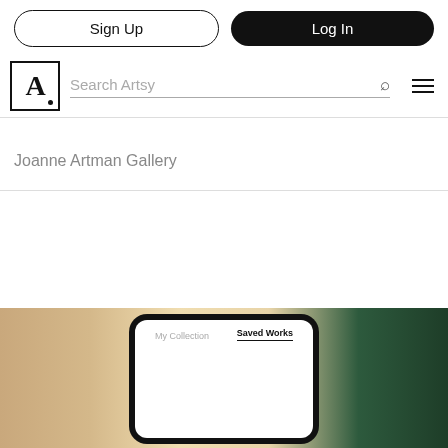[Figure (screenshot): Artsy website screenshot showing Sign Up and Log In buttons, search bar with Artsy logo, gallery name 'Joanne Artman Gallery', and a phone mockup at the bottom showing My Collection / Saved Works tabs]
Sign Up
Log In
Search Artsy
Joanne Artman Gallery
My Collection
Saved Works